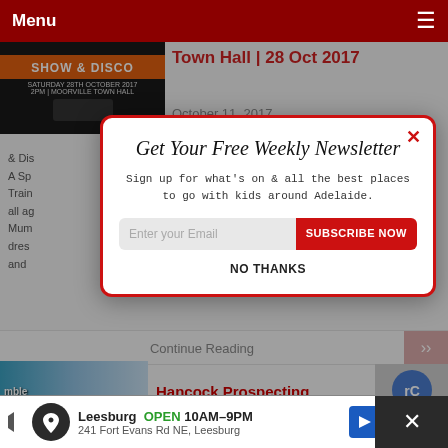Menu
[Figure (photo): Halloween Show & Disco event poster - orange and black themed, Saturday 28th October 2017, 2PM, Moorville Town Hall]
Town Hall | 28 Oct 2017
October 11, 2017
[ October 28, 2017; 2:00 pm; ]
& Dis... A Sp... Train... all ag... Mum... dress... and
Continue Reading
Hancock Prospecting
[Figure (screenshot): Newsletter signup modal overlay with title 'Get Your Free Weekly Newsletter', email input and SUBSCRIBE NOW button, NO THANKS option]
Leesburg OPEN 10AM–9PM 241 Fort Evans Rd NE, Leesburg